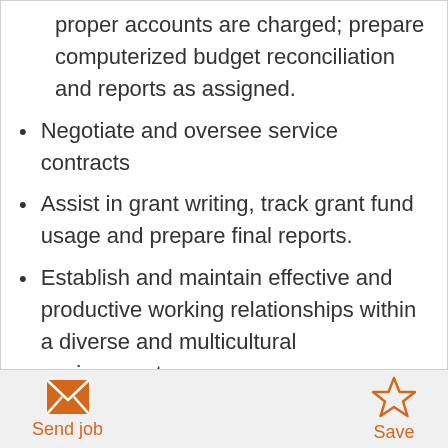proper accounts are charged; prepare computerized budget reconciliation and reports as assigned.
Negotiate and oversee service contracts
Assist in grant writing, track grant fund usage and prepare final reports.
Establish and maintain effective and productive working relationships within a diverse and multicultural environment.
Establish and maintain an effective customer service orientation towards all persons contacted during the course of job performance.
Send job   Save